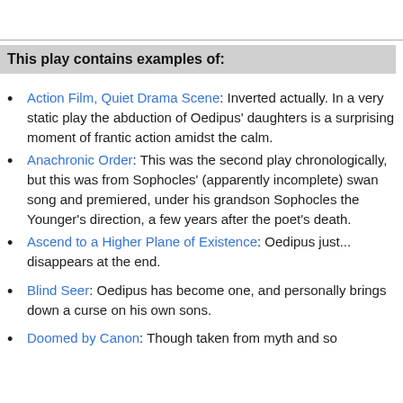This play contains examples of:
Action Film, Quiet Drama Scene: Inverted actually. In a very static play the abduction of Oedipus' daughters is a surprising moment of frantic action amidst the calm.
Anachronic Order: This was the second play chronologically, but this was from Sophocles' (apparently incomplete) swan song and premiered, under his grandson Sophocles the Younger's direction, a few years after the poet's death.
Ascend to a Higher Plane of Existence: Oedipus just... disappears at the end.
Blind Seer: Oedipus has become one, and personally brings down a curse on his own sons.
Doomed by Canon: Though taken from myth and so